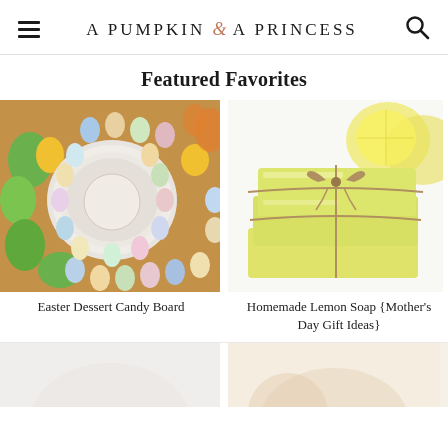A PUMPKIN & A PRINCESS
Featured Favorites
[Figure (photo): Easter Dessert Candy Board — overhead view of a round white bowl with creamy dip surrounded by pastel-colored Easter eggs, yellow Peeps chicks, and colorful candies on a wooden board]
Easter Dessert Candy Board
[Figure (photo): Homemade Lemon Soap bars stacked and tied with twine, with lemon halves in the background on a white surface]
Homemade Lemon Soap {Mother's Day Gift Ideas}
[Figure (photo): Partial bottom-left image, mostly white/light, cropped]
[Figure (photo): Partial bottom-right image showing soft golden/warm tones, cropped]